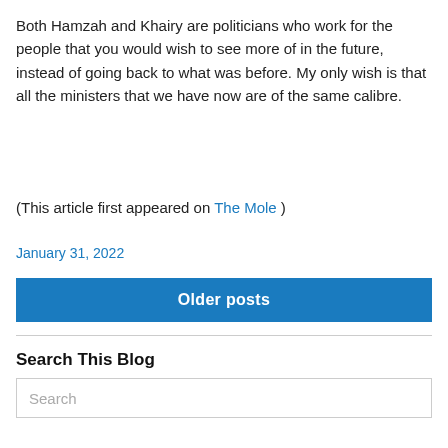Both Hamzah and Khairy are politicians who work for the people that you would wish to see more of in the future, instead of going back to what was before. My only wish is that all the ministers that we have now are of the same calibre.
(This article first appeared on The Mole )
January 31, 2022
Older posts
Search This Blog
Search